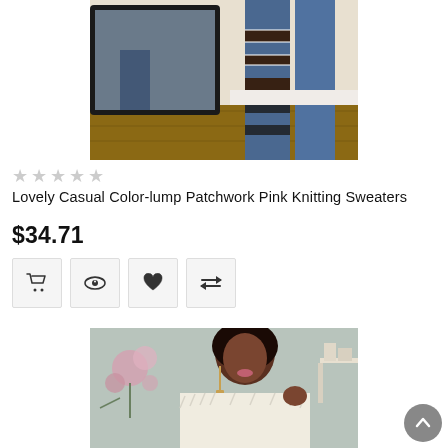[Figure (photo): Product photo showing a person wearing ripped blue jeans, viewed in a mirror]
★★★★★ (empty star rating)
Lovely Casual Color-lump Patchwork Pink Knitting Sweaters
$34.71
[Figure (screenshot): Action buttons: shopping cart, eye/view, heart/wishlist, compare]
[Figure (photo): Product photo showing a person wearing a white fluffy fur jacket with pink flowers in background]